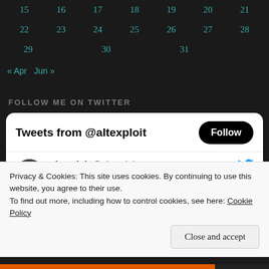| 15 | 16 | 17 | 18 | 19 | 20 | 21 |
| 22 | 23 | 24 | 25 | 26 | 27 | 28 |
| 29 | 30 | 31 |  |  |  |  |
« Apr   Jun »
FOLLOW ME ON TWITTER
[Figure (screenshot): Twitter widget showing Tweets from @altexploit with a Follow button, and a tweet from altexploit @altexploit dated Jun 20 with partial text visible]
Privacy & Cookies: This site uses cookies. By continuing to use this website, you agree to their use.
To find out more, including how to control cookies, see here: Cookie Policy
Close and accept